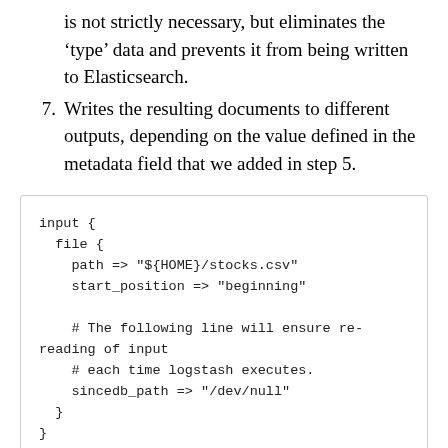is not strictly necessary, but eliminates the 'type' data and prevents it from being written to Elasticsearch.
7. Writes the resulting documents to different outputs, depending on the value defined in the metadata field that we added in step 5.
input {
  file {
    path => "${HOME}/stocks.csv"
    start_position => "beginning"

    # The following line will ensure re-reading of input
    # each time logstash executes.
    sincedb_path => "/dev/null"
  }
}